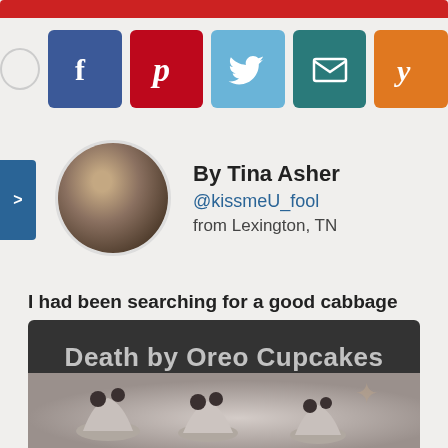[Figure (screenshot): Red header bar at top of page]
[Figure (infographic): Social media sharing icons: Facebook, Pinterest, Twitter, Email, Yummly]
By Tina Asher
@kissmeU_fool
from Lexington, TN
I had been searching for a good cabbage roll recipe. Unfortunately I couldn't find one with much flavor, most are so bland. I came up with this recipe and it is
read more
[Figure (photo): Death by Oreo Cupcakes - dark header with text and cupcakes image below]